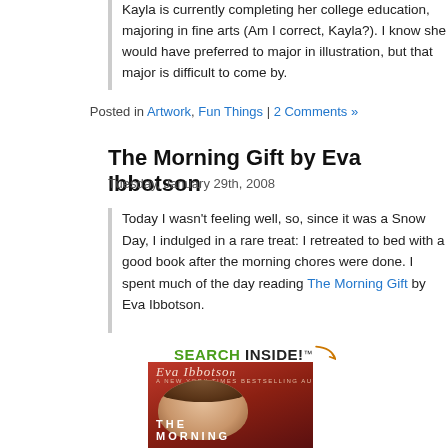Kayla is currently completing her college education, majoring in fine arts (Am I correct, Kayla?). I know she would have preferred to major in illustration, but that major is difficult to come by.
Posted in Artwork, Fun Things | 2 Comments »
The Morning Gift by Eva Ibbotson
Tuesday, January 29th, 2008
Today I wasn't feeling well, so, since it was a Snow Day, I indulged in a rare treat: I retreated to bed with a good book after the morning chores were done. I spent much of the day reading The Morning Gift by Eva Ibbotson.
[Figure (photo): Book cover of The Morning Gift by Eva Ibbotson with a Search Inside! badge, showing a woman's face on a red background with the title THE MORNING at the bottom]